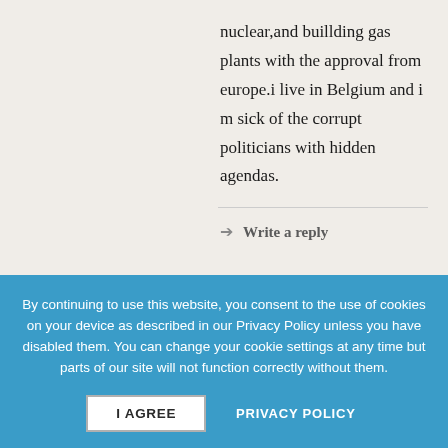nuclear,and buillding gas plants with the approval from europe.i live in Belgium and i m sick of the corrupt politicians with hidden agendas.
→ Write a reply
Stijn • October 9th, 2021 • 🔗
Politicians are lying criminals in suits
By continuing to use this website, you consent to the use of cookies on your device as described in our Privacy Policy unless you have disabled them. You can change your cookie settings at any time but parts of our site will not function correctly without them.
I AGREE
PRIVACY POLICY